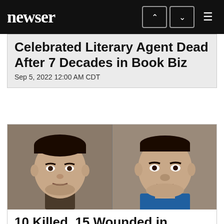newser
Celebrated Literary Agent Dead After 7 Decades in Book Biz
Sep 5, 2022  12:00 AM CDT
[Figure (photo): Two mugshot-style photos of two men side by side]
10 Killed, 15 Wounded in Canada Stabbing Rampage
Sep 4, 2022  7:25 PM CDT